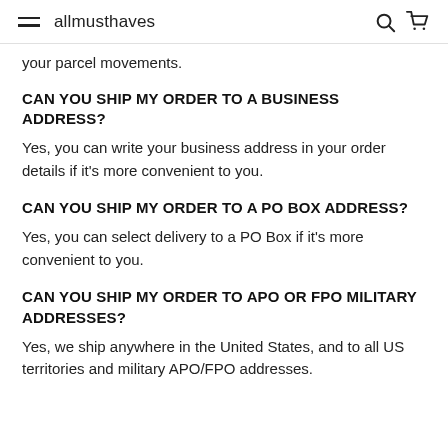allmusthaves
your parcel movements.
CAN YOU SHIP MY ORDER TO A BUSINESS ADDRESS?
Yes, you can write your business address in your order details if it's more convenient to you.
CAN YOU SHIP MY ORDER TO A PO BOX ADDRESS?
Yes, you can select delivery to a PO Box if it's more convenient to you.
CAN YOU SHIP MY ORDER TO APO OR FPO MILITARY ADDRESSES?
Yes, we ship anywhere in the United States, and to all US territories and military APO/FPO addresses.